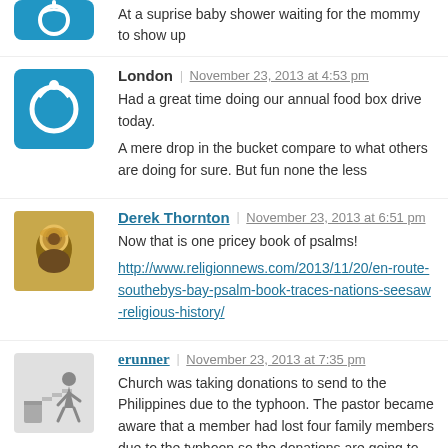At a suprise baby shower waiting for the mommy to show up
London · November 23, 2013 at 4:53 pm
Had a great time doing our annual food box drive today.
A mere drop in the bucket compare to what others are doing for sure. But fun none the less
Derek Thornton · November 23, 2013 at 6:51 pm
Now that is one pricey book of psalms!
http://www.religionnews.com/2013/11/20/en-route-southebys-bay-psalm-book-traces-nations-seesaw-religious-history/
erunner · November 23, 2013 at 7:35 pm
Church was taking donations to send to the Philippines due to the typhoon. The pastor became aware that a member had lost four family members due to the typhoon so the donations are going to her family who are in a horrible situation. Sad but we are so so blessed here in